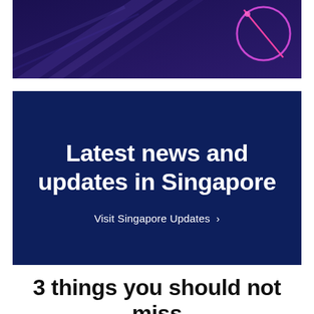[Figure (illustration): Dark purple/navy background banner with abstract geometric lines and a glowing pink/purple circular ring shape in the upper right corner]
Latest news and updates in Singapore
Visit Singapore Updates >
3 things you should not miss